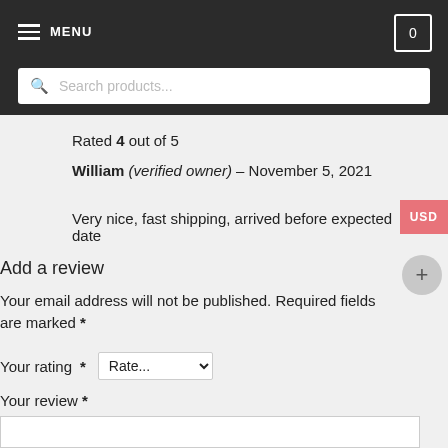MENU | 0
Search products...
Rated 4 out of 5
William (verified owner) – November 5, 2021
Very nice, fast shipping, arrived before expected date
Add a review
Your email address will not be published. Required fields are marked *
Your rating *
Your review *